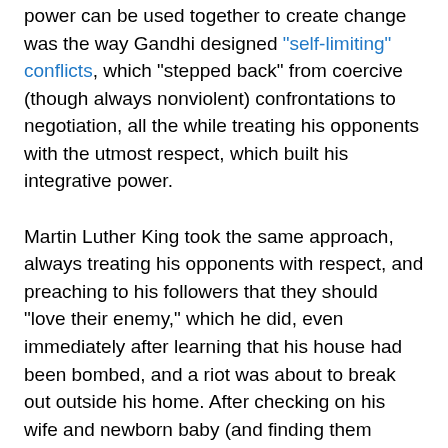power can be used together to create change was the way Gandhi designed "self-limiting" conflicts, which "stepped back" from coercive (though always nonviolent) confrontations to negotiation, all the while treating his opponents with the utmost respect, which built his integrative power.
Martin Luther King took the same approach, always treating his opponents with respect, and preaching to his followers that they should "love their enemy," which he did, even immediately after learning that his house had been bombed, and a riot was about to break out outside his home. After checking on his wife and newborn baby (and finding them okay), King went to his front porch to address the assembled crowd.